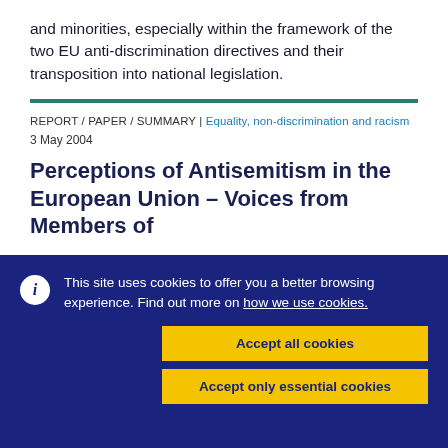and minorities, especially within the framework of the two EU anti-discrimination directives and their transposition into national legislation.
REPORT / PAPER / SUMMARY | Equality, non-discrimination and racism
3 May 2004
Perceptions of Antisemitism in the European Union – Voices from Members of
This site uses cookies to offer you a better browsing experience. Find out more on how we use cookies.
Accept all cookies
Accept only essential cookies